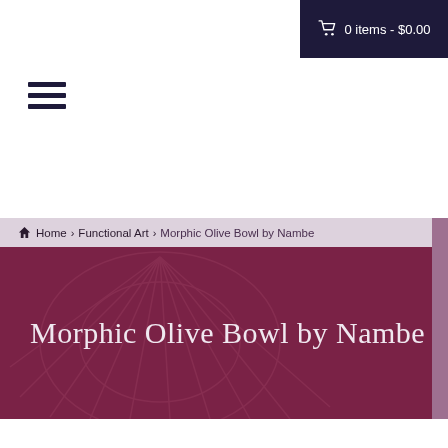0 items - $0.00
[Figure (other): Hamburger menu icon with three horizontal lines]
Home > Functional Art > Morphic Olive Bowl by Nambe
Morphic Olive Bowl by Nambe